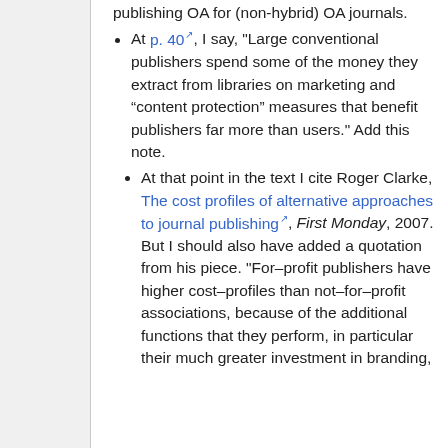publishing OA for (non-hybrid) OA journals.
At p. 40, I say, "Large conventional publishers spend some of the money they extract from libraries on marketing and “content protection” measures that benefit publishers far more than users." Add this note.
At that point in the text I cite Roger Clarke, The cost profiles of alternative approaches to journal publishing, First Monday, 2007. But I should also have added a quotation from his piece. "For–profit publishers have higher cost–profiles than not–for–profit associations, because of the additional functions that they perform, in particular their much greater investment in branding,